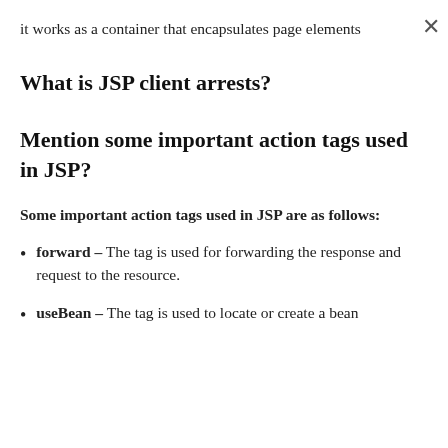it works as a container that encapsulates page elements
What is JSP client arrests?
Mention some important action tags used in JSP?
Some important action tags used in JSP are as follows:
forward – The tag is used for forwarding the response and request to the resource.
useBean – The tag is used to locate or create a bean